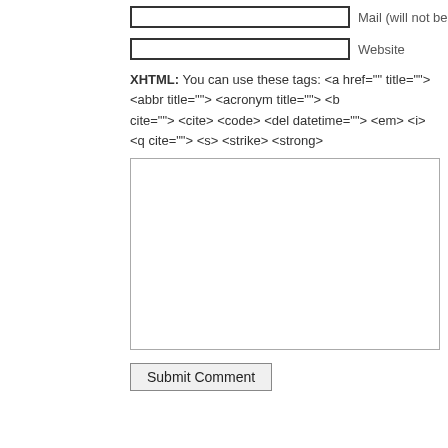Mail (will not be published) (required)
Website
XHTML: You can use these tags: <a href="" title=""> <abbr title=""> <acronym title=""> <b cite=""> <cite> <code> <del datetime=""> <em> <i> <q cite=""> <s> <strike> <strong>
Submit Comment